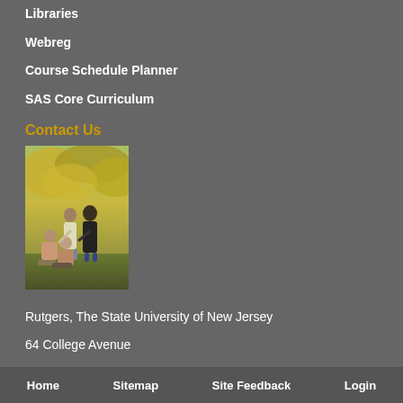Libraries
Webreg
Course Schedule Planner
SAS Core Curriculum
Contact Us
[Figure (photo): Students gathered outdoors on campus in autumn, with yellow-leafed trees in background. Three students conversing, one standing and two seated.]
Rutgers, The State University of New Jersey
64 College Avenue
Piscataway, NJ 08854-8070
Phone: 848.932.5555
Home    Sitemap    Site Feedback    Login